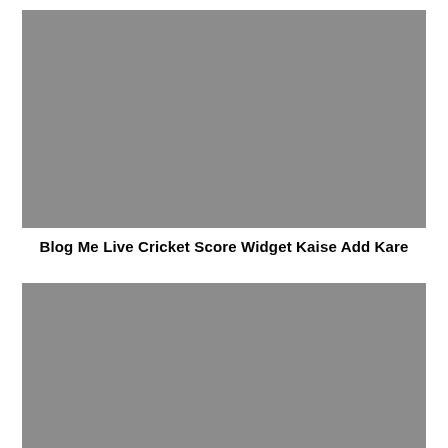[Figure (photo): Gray placeholder image block at top of page]
Blog Me Live Cricket Score Widget Kaise Add Kare
[Figure (photo): Gray placeholder image block at bottom of page]